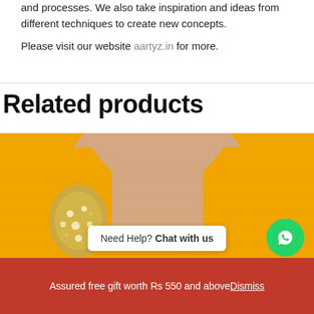and processes. We also take inspiration and ideas from different techniques to create new concepts.

Please visit our website aartyz.in for more.
Related products
[Figure (photo): Close-up of a mannequin wearing a yellow/mustard sleeveless blouse with gold embroidery/embellishment on the shoulder area. The neckline is round and the fabric has a textured knit look.]
Need Help? Chat with us
Assured free gift worth Rs 550 and above Dismiss